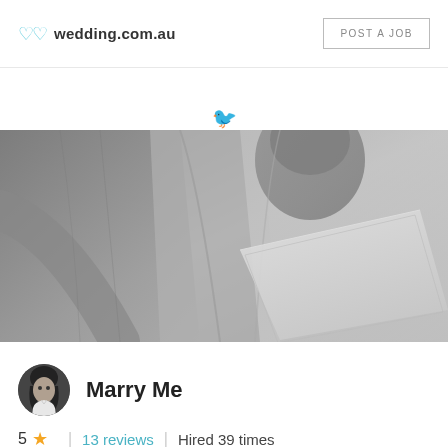wedding.com.au | POST A JOB
[Figure (photo): Black and white photo of a person in a robe holding what appears to be a folder or document, viewed from the chest area]
[Figure (photo): Small circular avatar photo of a dark-haired woman]
Marry Me
5 ★ | 13 reviews | Hired 39 times